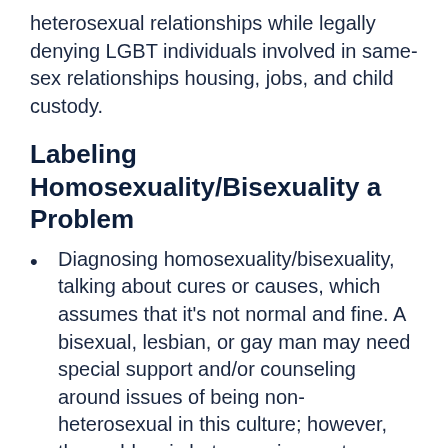heterosexual relationships while legally denying LGBT individuals involved in same-sex relationships housing, jobs, and child custody.
Labeling Homosexuality/Bisexuality a Problem
Diagnosing homosexuality/bisexuality, talking about cures or causes, which assumes that it's not normal and fine. A bisexual, lesbian, or gay man may need special support and/or counseling around issues of being non-heterosexual in this culture; however, the problem is heterosexism, not bisexuality/homosexuality.